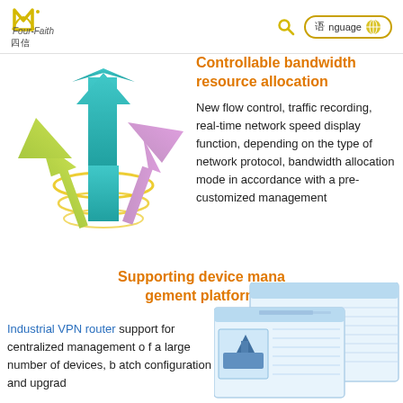Four-Faith logo with search and language selector
Controllable bandwidth resource allocation
[Figure (illustration): Three arrows pointing upward from a glowing teal pillar with yellow rings — green, teal/blue, and pink arrows diverging upward, representing network flow control]
New flow control, traffic recording, real-time network speed display function, depending on the type of network protocol, bandwidth allocation mode in accordance with a pre-customized management
Supporting device management platform
Industrial VPN router support for centralized management of a large number of devices, batch configuration and upgrad
[Figure (screenshot): Screenshot of a device management platform interface showing tabular data and a product image]